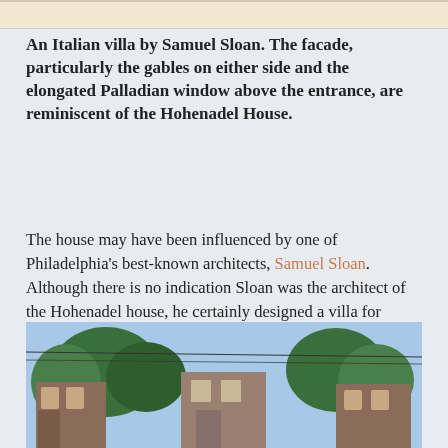[Figure (photo): Top strip of a photo, partially visible at top of page]
An Italian villa by Samuel Sloan. The facade, particularly the gables on either side and the elongated Palladian window above the entrance, are reminiscent of the Hohenadel House.
The house may have been influenced by one of Philadelphia's best-known architects, Samuel Sloan. Although there is no indication Sloan was the architect of the Hohenadel house, he certainly designed a villa for Abbott in the 1850s. The Abbott Villa once stood on the current site of the Queen Lane Reservoir.
[Figure (photo): Street-level photo of row houses with trees in background, blue sky visible]